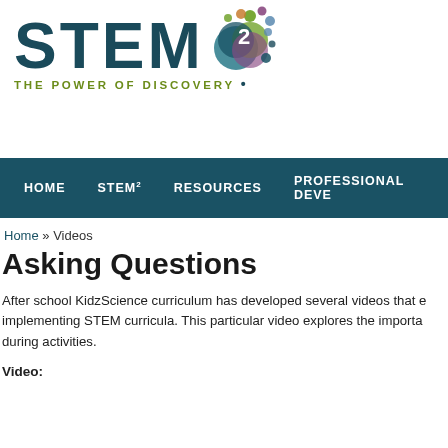[Figure (logo): STEM squared logo with colorful overlapping circles and text 'THE POWER OF DISCOVERY']
HOME   STEM²   RESOURCES   PROFESSIONAL DEVE
Home » Videos
Asking Questions
After school KidzScience curriculum has developed several videos that e implementing STEM curricula. This particular video explores the importa during activities.
Video: